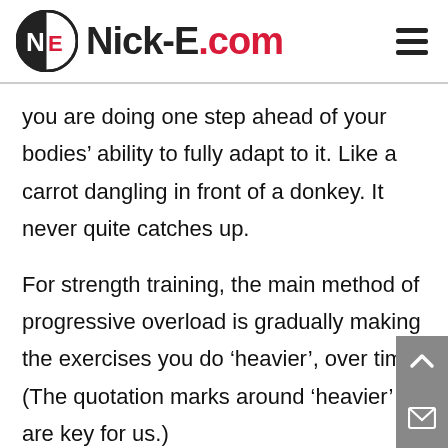Nick-E.com
you are doing one step ahead of your bodies’ ability to fully adapt to it. Like a carrot dangling in front of a donkey. It never quite catches up.
For strength training, the main method of progressive overload is gradually making the exercises you do ‘heavier’, over time. (The quotation marks around ‘heavier’ are key for us.)